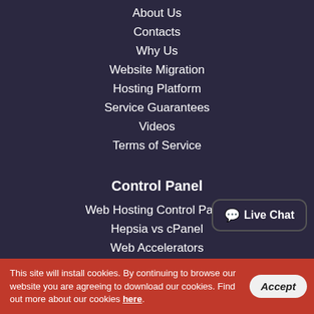About Us
Contacts
Why Us
Website Migration
Hosting Platform
Service Guarantees
Videos
Terms of Service
Control Panel
Web Hosting Control Panel
Hepsia vs cPanel
Web Accelerators
Free Themes
Domain Names Manager
File Manager
Live Chat
This site will install cookies. By continuing to browse our website you are agreeing to download our cookies. Find out more about our cookies here.